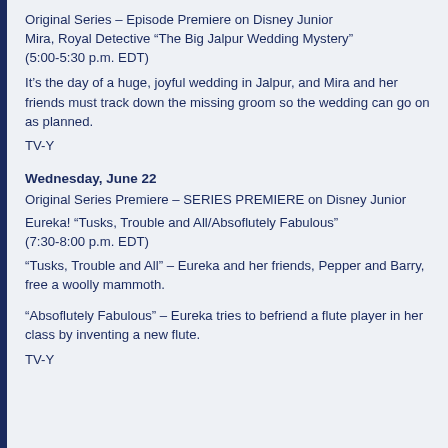Original Series – Episode Premiere on Disney Junior
Mira, Royal Detective “The Big Jalpur Wedding Mystery” (5:00-5:30 p.m. EDT)
It’s the day of a huge, joyful wedding in Jalpur, and Mira and her friends must track down the missing groom so the wedding can go on as planned.
TV-Y
Wednesday, June 22
Original Series Premiere – SERIES PREMIERE on Disney Junior
Eureka! “Tusks, Trouble and All/Absoflutely Fabulous” (7:30-8:00 p.m. EDT)
“Tusks, Trouble and All” – Eureka and her friends, Pepper and Barry, free a woolly mammoth.
“Absoflutely Fabulous” – Eureka tries to befriend a flute player in her class by inventing a new flute.
TV-Y